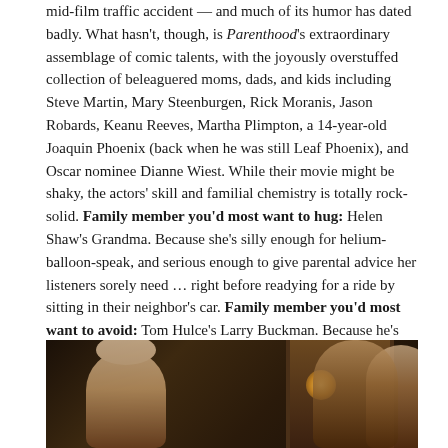mid-film traffic accident — and much of its humor has dated badly. What hasn't, though, is Parenthood's extraordinary assemblage of comic talents, with the joyously overstuffed collection of beleaguered moms, dads, and kids including Steve Martin, Mary Steenburgen, Rick Moranis, Jason Robards, Keanu Reeves, Martha Plimpton, a 14-year-old Joaquin Phoenix (back when he was still Leaf Phoenix), and Oscar nominee Dianne Wiest. While their movie might be shaky, the actors' skill and familial chemistry is totally rock-solid. Family member you'd most want to hug: Helen Shaw's Grandma. Because she's silly enough for helium-balloon-speak, and serious enough to give parental advice her listeners sorely need … right before readying for a ride by sitting in their neighbor's car. Family member you'd most want to avoid: Tom Hulce's Larry Buckman. Because he's only after your bucks, man.
[Figure (photo): A dark movie still showing several figures, likely from a film scene. Three people are visible against a dark interior background with a door frame and warm light source in the center.]